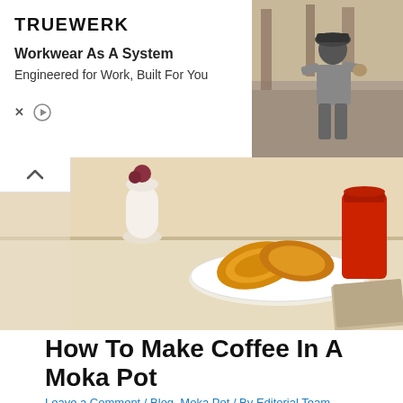[Figure (photo): TRUEWERK advertisement banner showing logo, 'Workkwear As A System' headline, 'Engineered for Work, Built For You' tagline, and a photo of a person working outdoors]
[Figure (photo): Hero image showing a white cup of coffee, plate of croissants, and a red container on a light surface with a magazine]
How To Make Coffee In A Moka Pot
Leave a Comment / Blog, Moka Pot / By Editorial Team
The Moka Pot is a handy but tiny coffee brewer which produces very strong coffee. It's also known as a stove espresso machine since it creates a robust flavor similar to espresso. But do you know how to make coffee in a Moka pot? To prepare coffee in a Moka pot, you